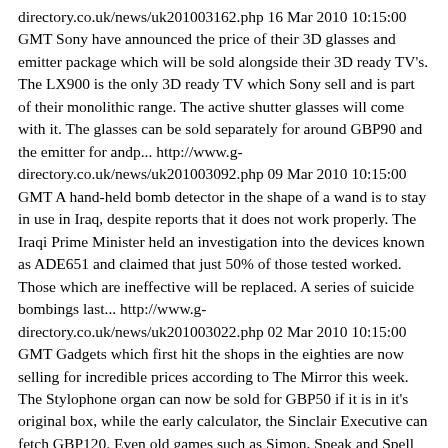directory.co.uk/news/uk201003162.php 16 Mar 2010 10:15:00 GMT Sony have announced the price of their 3D glasses and emitter package which will be sold alongside their 3D ready TV's. The LX900 is the only 3D ready TV which Sony sell and is part of their monolithic range. The active shutter glasses will come with it. The glasses can be sold separately for around GBP90 and the emitter for andp... http://www.g-directory.co.uk/news/uk201003092.php 09 Mar 2010 10:15:00 GMT A hand-held bomb detector in the shape of a wand is to stay in use in Iraq, despite reports that it does not work properly. The Iraqi Prime Minister held an investigation into the devices known as ADE651 and claimed that just 50% of those tested worked. Those which are ineffective will be replaced. A series of suicide bombings last... http://www.g-directory.co.uk/news/uk201003022.php 02 Mar 2010 10:15:00 GMT Gadgets which first hit the shops in the eighties are now selling for incredible prices according to The Mirror this week. The Stylophone organ can now be sold for GBP50 if it is in it's original box, while the early calculator, the Sinclair Executive can fetch GBP120. Even old games such as Simon, Speak and Spell and Pacma... http://www.g-directory.co.uk/news/uk201002232.php 23 Feb 2010 10:15:00 GMT Owners of the iPhone are resorting to insurance fraud to get the latest handset according to specialist insurer Supercover. Carmi Korine, director of the insurer has found that as new upgrades are launched for the iPhone, they begin to